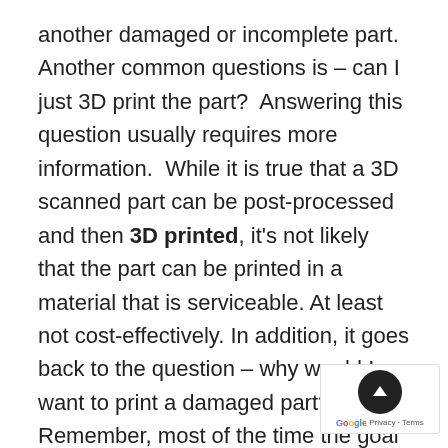another damaged or incomplete part. Another common questions is – can I just 3D print the part?  Answering this question usually requires more information.  While it is true that a 3D scanned part can be post-processed and then 3D printed, it's not likely that the part can be printed in a material that is serviceable. At least not cost-effectively. In addition, it goes back to the question – why would I want to print a damaged part? Remember, most of the time the goal of the reverse engineering workflow is to obtain a perfectly made duplicate part from the original specified material. It's the CAD software that provides the platform to perform that critical
[Figure (other): A Google privacy/terms overlay button with a dark circular back-to-top arrow button and a Google logo, positioned in the bottom-right corner.]